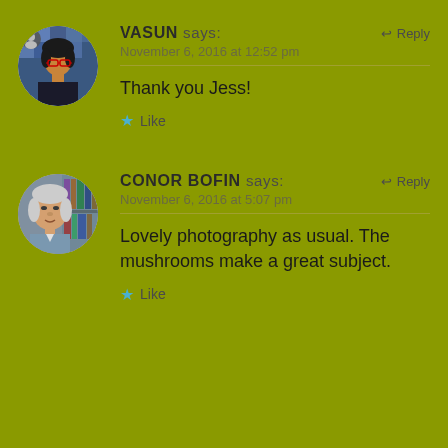[Figure (photo): Circular avatar photo of a woman with glasses named Vasun]
VASUN says:
Reply
November 6, 2016 at 12:52 pm
Thank you Jess!
Like
[Figure (photo): Circular avatar photo of an older man named Conor Bofin]
CONOR BOFIN says:
Reply
November 6, 2016 at 5:07 pm
Lovely photography as usual. The mushrooms make a great subject.
Like